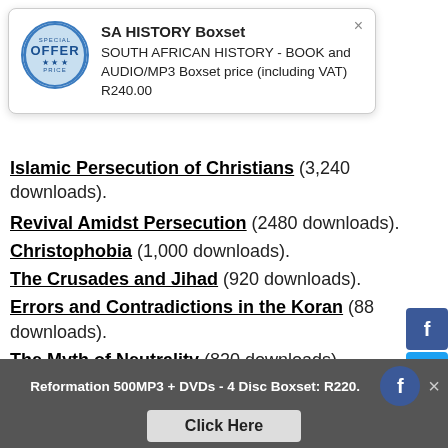[Figure (screenshot): SA HISTORY Boxset popup advertisement with OFFER badge. Text: SA HISTORY Boxset, SOUTH AFRICAN HISTORY - BOOK and AUDIO/MP3 Boxset price (including VAT) R240.00. Has a close button (×).]
Islamic Persecution of Christians (3,240 downloads).
Revival Amidst Persecution (2480 downloads).
Christophobia (1,000 downloads).
The Crusades and Jihad (920 downloads).
Errors and Contradictions in the Koran (880 downloads).
The Myth of Neutrality (820 downloads).
Understanding the Crisis in the Ukraine (7…
[Figure (screenshot): Social media sharing sidebar with Facebook (blue), Twitter (light blue), WhatsApp (green), Messenger (blue), Google+ (red), Pinterest (dark red), More (grey) buttons.]
Reformation 500MP3 + DVDs - 4 Disc Boxset: R220. [Facebook icon] × Click Here